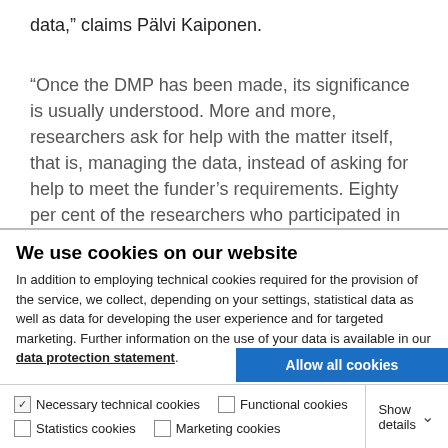data,” claims Pälvi Kaiponen.
“Once the DMP has been made, its significance is usually understood. More and more, researchers ask for help with the matter itself, that is, managing the data, instead of asking for help to meet the funder’s requirements. Eighty per cent of the researchers who participated in the DMP workshops in
We use cookies on our website
In addition to employing technical cookies required for the provision of the service, we collect, depending on your settings, statistical data as well as data for developing the user experience and for targeted marketing. Further information on the use of your data is available in our data protection statement.
Allow all cookies
Allow selection
Use necessary cookies only
Necessary technical cookies  Functional cookies  Statistics cookies  Marketing cookies  Show details